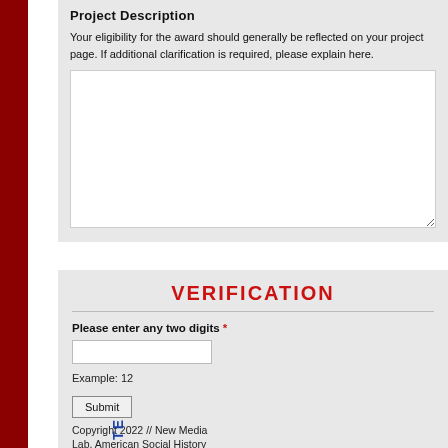Project Description
Your eligibility for the award should generally be reflected on your project page. If additional clarification is required, please explain here.
VERIFICATION
Please enter any two digits *
Example: 12
Submit
Copyright 2022 // New Media Lab, American Social History